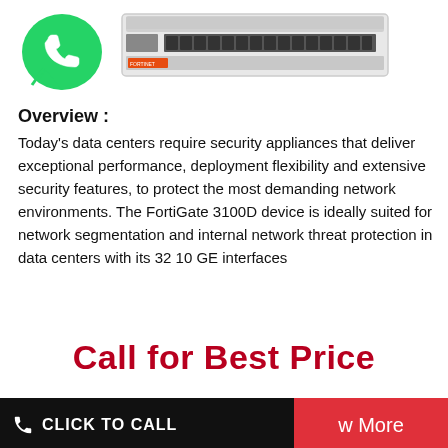[Figure (photo): WhatsApp green phone icon (circular green background with white phone handset)]
[Figure (photo): FortiGate 3100D network security appliance device (rack-mounted unit, light grey/white color with multiple port interfaces)]
Overview :
Today's data centers require security appliances that deliver exceptional performance, deployment flexibility and extensive security features, to protect the most demanding network environments. The FortiGate 3100D device is ideally suited for network segmentation and internal network threat protection in data centers with its 32 10 GE interfaces
Call for Best Price
CLICK TO CALL
w More